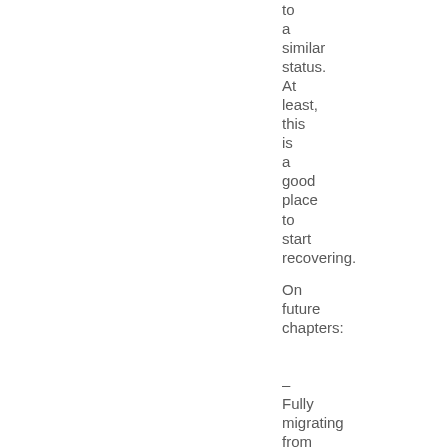to a similar status. At least, this is a good place to start recovering.
On future chapters:
– Fully migrating from 64 to 32 bit and vice versa